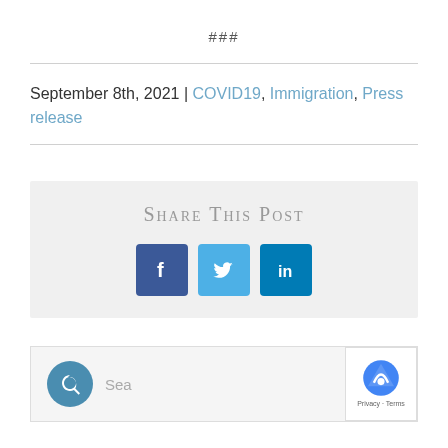###
September 8th, 2021 | COVID19, Immigration, Press release
Share This Post
[Figure (infographic): Social media share buttons: Facebook (f), Twitter (bird icon), LinkedIn (in)]
Sea[rch box with comment icon]